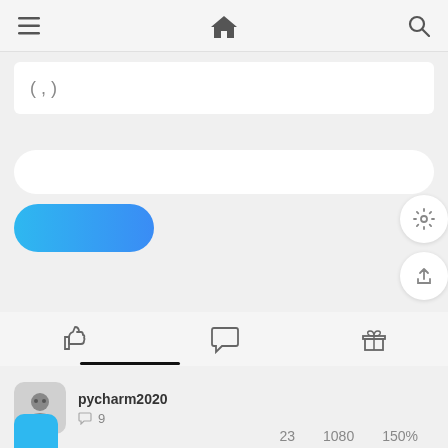[Figure (screenshot): Mobile app navigation bar with hamburger menu, home icon, and search icon]
[Figure (screenshot): White input card showing text '( , )']
[Figure (screenshot): White rounded input bar]
[Figure (screenshot): Blue gradient pill-shaped button]
[Figure (screenshot): Settings gear icon in white circle]
[Figure (screenshot): Share/upload icon in white circle]
[Figure (screenshot): Tab row with thumbs-up, speech bubble, and gift icons; thumbs-up tab active with underline]
pycharm2020
9
23   1080   150%